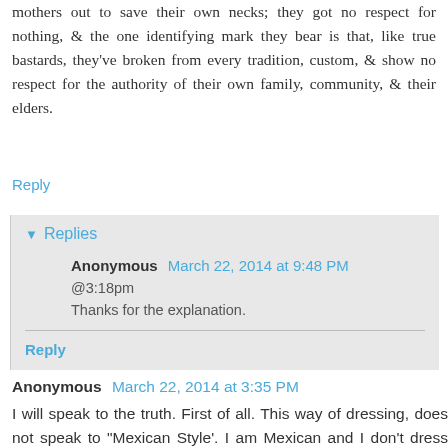mothers out to save their own necks; they got no respect for nothing, & the one identifying mark they bear is that, like true bastards, they've broken from every tradition, custom, & show no respect for the authority of their own family, community, & their elders.
Reply
▼ Replies
Anonymous March 22, 2014 at 9:48 PM
@3:18pm
Thanks for the explanation.
Reply
Anonymous March 22, 2014 at 3:35 PM
I will speak to the truth. First of all. This way of dressing, does not speak to "Mexican Style'. I am Mexican and I don't dress like this. Only a group of lost people dress like this.